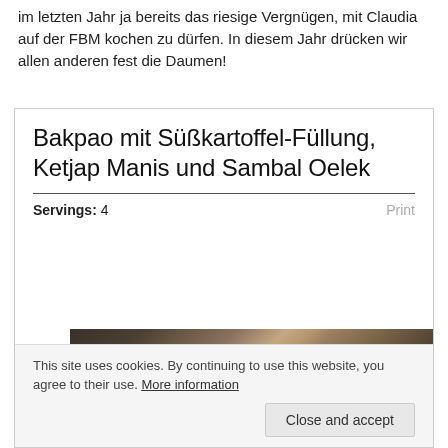im letzten Jahr ja bereits das riesige Vergnügen, mit Claudia auf der FBM kochen zu dürfen. In diesem Jahr drücken wir allen anderen fest die Daumen!
Bakpao mit Süßkartoffel-Füllung, Ketjap Manis und Sambal Oelek
Servings: 4
[Figure (photo): Dark overhead photo of peanuts and peanut shells scattered on a dark wooden surface]
This site uses cookies. By continuing to use this website, you agree to their use. More information
Close and accept